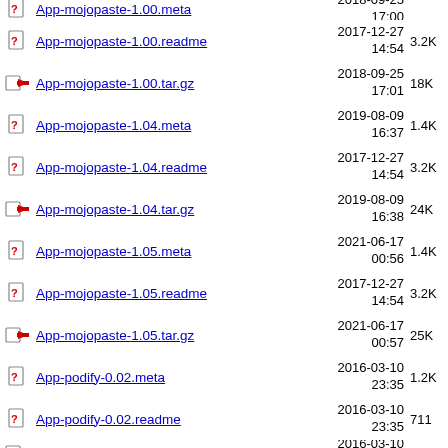App-mojopaste-1.00.readme  2017-12-27 14:54  3.2K
App-mojopaste-1.00.tar.gz  2018-09-25 17:01  18K
App-mojopaste-1.04.meta  2019-08-09 16:37  1.4K
App-mojopaste-1.04.readme  2017-12-27 14:54  3.2K
App-mojopaste-1.04.tar.gz  2019-08-09 16:38  24K
App-mojopaste-1.05.meta  2021-06-17 00:56  1.4K
App-mojopaste-1.05.readme  2017-12-27 14:54  3.2K
App-mojopaste-1.05.tar.gz  2021-06-17 00:57  25K
App-podify-0.02.meta  2016-03-10 23:35  1.2K
App-podify-0.02.readme  2016-03-10 23:35  711
App-podify-0.02.tar.gz  2016-03-10 23:36  5.2K